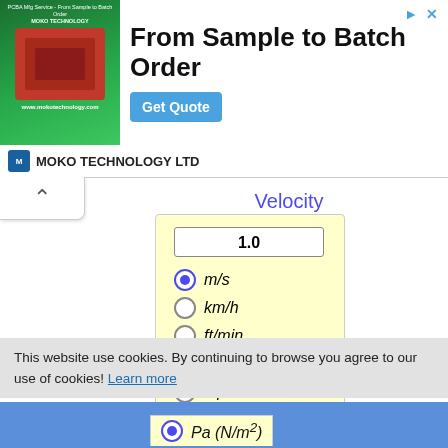[Figure (screenshot): Ad banner for MOKO TECHNOLOGY LTD: From Sample to Batch Order with Get Quote button]
MOKO TECHNOLOGY LTD
Velocity
[Figure (screenshot): Velocity unit converter widget with input value 1.0 and radio buttons for m/s (selected), km/h, ft/min, ft/s, mph, knots, and Convert! button]
This website use cookies. By continuing to browse you agree to our use of cookies! Learn more
Got it!
Pa (N/m²)